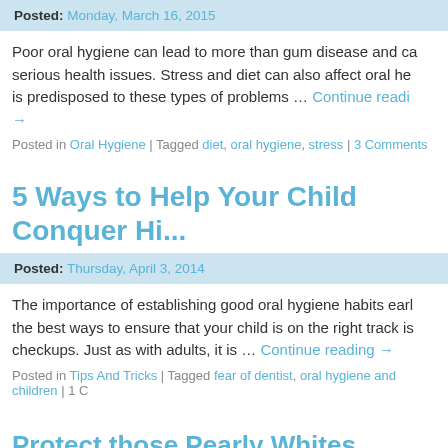Posted: Monday, March 16, 2015
Poor oral hygiene can lead to more than gum disease and ca... serious health issues. Stress and diet can also affect oral he... is predisposed to these types of problems … Continue reading →
Posted in Oral Hygiene | Tagged diet, oral hygiene, stress | 3 Comments
5 Ways to Help Your Child Conquer Hi...
Posted: Thursday, April 3, 2014
The importance of establishing good oral hygiene habits earl... the best ways to ensure that your child is on the right track is... checkups. Just as with adults, it is … Continue reading →
Posted in Tips And Tricks | Tagged fear of dentist, oral hygiene and children | 1 C...
Protect those Pearly Whites